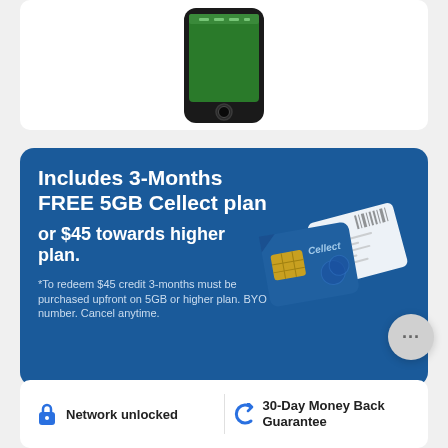[Figure (photo): Top of an iPhone shown from the front with a dark frame, partially cropped, showing the home button and bottom bezel.]
[Figure (infographic): Blue promotional banner reading 'Includes 3-Months FREE 5GB Cellect plan or $45 towards higher plan.' with a SIM card image on the right and fine print below.]
Includes 3-Months FREE 5GB Cellect plan
or $45 towards higher plan.
*To redeem $45 credit 3-months must be purchased upfront on 5GB or higher plan. BYO number. Cancel anytime.
Network unlocked
30-Day Money Back Guarantee